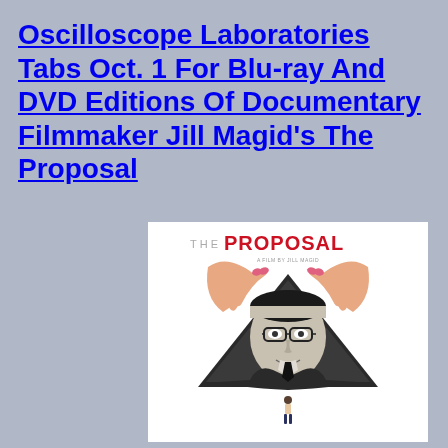Oscilloscope Laboratories Tabs Oct. 1 For Blu-ray And DVD Editions Of Documentary Filmmaker Jill Magid's The Proposal
[Figure (illustration): Movie poster for 'The Proposal' — a film by Jill Magid. White poster showing text 'THE PROPOSAL' at top with 'THE' in gray and 'PROPOSAL' in bold red. Below is a collage-style illustration: large hands with pink nail polish peeling back a triangular/diamond-shaped black-and-white photograph of a middle-aged man with glasses and a dark tie, and a small female figure standing at the bottom of the diamond shape.]